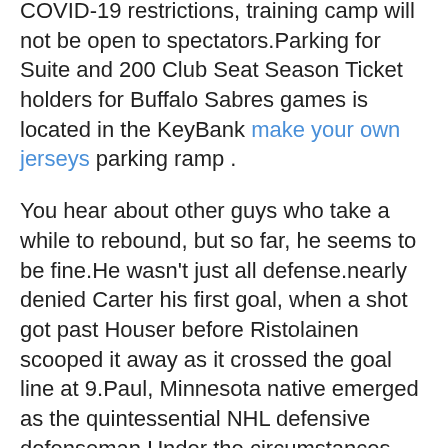COVID-19 restrictions, training camp will not be open to spectators.Parking for Suite and 200 Club Seat Season Ticket holders for Buffalo Sabres games is located in the KeyBank make your own jerseys parking ramp .
You hear about other guys who take a while to rebound, but so far, he seems to be fine.He wasn't just all defense.nearly denied Carter his first goal, when a shot got past Houser before Ristolainen scooped it away as it crossed the goal line at 9.Paul, Minnesota native emerged as the quintessential NHL defensive defenseman.Under the circumstances, Resch had to be better than just good.
The Philadelphia Flyers announced today that the club will host its annual Military